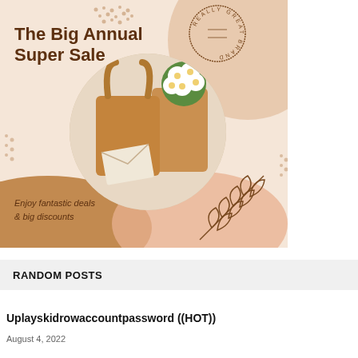[Figure (illustration): The Big Annual Super Sale promotional banner. Warm beige/peach background with organic blob shapes in tan and brown. Features a circular photo of a tan handbag with white flowers, dotted decorative patterns, a circular brand stamp reading REALLY GREAT BRAND, and a leaf illustration. Text: The Big Annual Super Sale. Enjoy fantastic deals & big discounts.]
RANDOM POSTS
Uplayskidrowaccountpassword ((HOT))